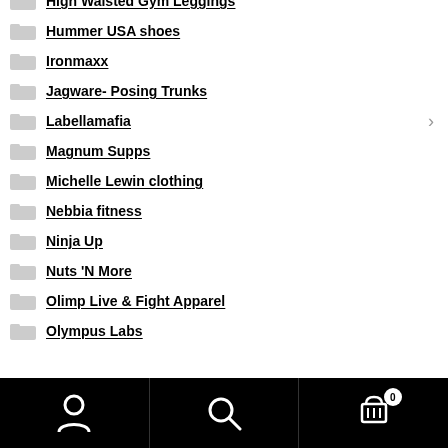High Waisted Gym Leggings
Hummer USA shoes
Ironmaxx
Jagware- Posing Trunks
Labellamafia
Magnum Supps
Michelle Lewin clothing
Nebbia fitness
Ninja Up
Nuts 'N More
Olimp Live & Fight Apparel
Olympus Labs
User | Search | Cart (0)